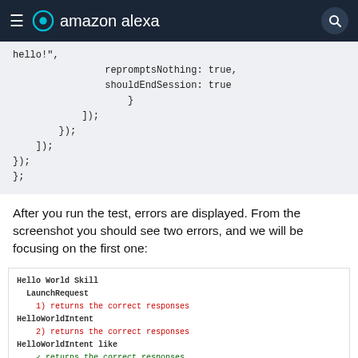amazon alexa
[Figure (screenshot): Code block showing JavaScript: hello!", repromptsNothing: true, shouldEndSession: true } ]); }); ]); }); };]
After you run the test, errors are displayed. From the screenshot you should see two errors, and we will be focusing on the first one:
[Figure (screenshot): Test output screenshot showing Hello World Skill, LaunchRequest, 1) returns the correct responses (red), HelloWorldIntent, 2) returns the correct responses (red), HelloWorldIntent like, checkmark returns the correct responses (green), 1 passing (24ms), 2 failing (red)]